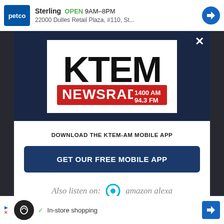[Figure (screenshot): Top advertisement banner for Petco store in Sterling, OPEN 9AM-8PM, address 22000 Dulles Retail Plaza #110, St...]
[Figure (logo): KTEM NewsRadio 1400 AM 94.3 FM logo in white box on dark blue modal background, with X close button]
DOWNLOAD THE KTEM-AM MOBILE APP
GET OUR FREE MOBILE APP
Also listen on:  amazon alexa
[Figure (screenshot): Bottom advertisement banner showing a circular icon with infinity-like symbol, checkmark, In-store shopping text, and navigation arrow]